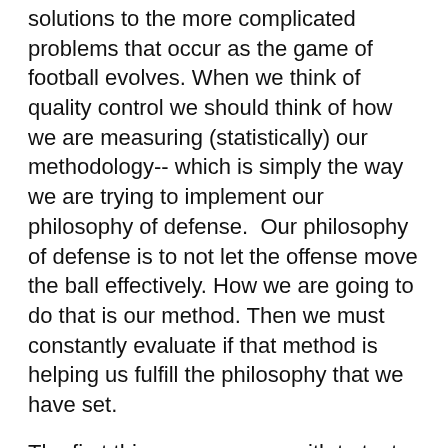solutions to the more complicated problems that occur as the game of football evolves. When we think of quality control we should think of how we are measuring (statistically) our methodology-- which is simply the way we are trying to implement our philosophy of defense.  Our philosophy of defense is to not let the offense move the ball effectively. How we are going to do that is our method. Then we must constantly evaluate if that method is helping us fulfill the philosophy that we have set.
The first thing we came up with to test the method is to identify specific goals that tell us if we had a good game defensively. This goal board is updated weekly so that our players can see how well we are accomplishing our game goals. We need to be able to show them specifically why we are playing defense effectively. Simply saying we aren't playing